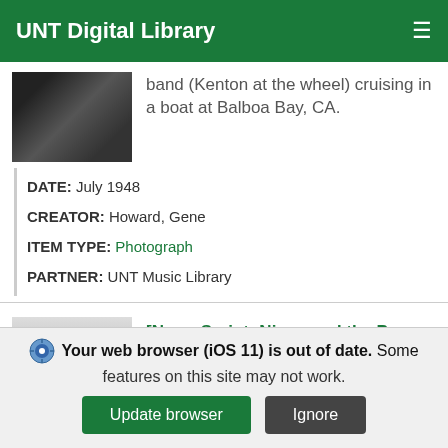UNT Digital Library
band (Kenton at the wheel) cruising in a boat at Balboa Bay, CA.
DATE: July 1948
CREATOR: Howard, Gene
ITEM TYPE: Photograph
PARTNER: UNT Music Library
[Figure (photo): Black and white thumbnail photo of a band, Kenton at the wheel, on a boat]
[Figure (photo): Grayscale thumbnail of a document page]
[News Script: Nixon and the Peace Plan]
Your web browser (iOS 11) is out of date. Some features on this site may not work.